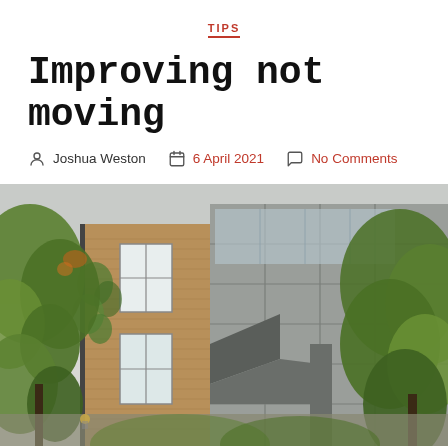TIPS
Improving not moving
Joshua Weston   6 April 2021   No Comments
[Figure (photo): Exterior photograph showing a contrast between an old brick residential building with sash windows and ivy, and a modern grey cladded building, with green trees in the foreground.]